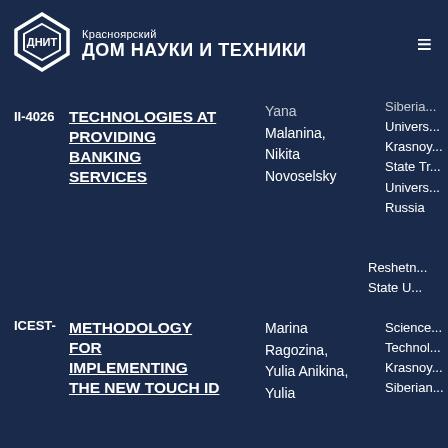[Figure (logo): ДНИТ Красноярский Дом Науки и Техники logo with geometric diamond shape]
Красноярский ДОМ НАУКИ И ТЕХНИКИ
II-4026
TECHNOLOGIES AT PROVIDING BANKING SERVICES
Yana Malanina, Nikita Novoselsky
Siberian... University Krasnoy... State Tr... Univers... Russia
METHODOLOGY FOR IMPLEMENTING THE NEW TOUCH ID
ICEST-
Marina Ragozina, Yulia Anikina, Yulia
Reshetn... State U... Science... Technol... Krasnoy... Siberian...